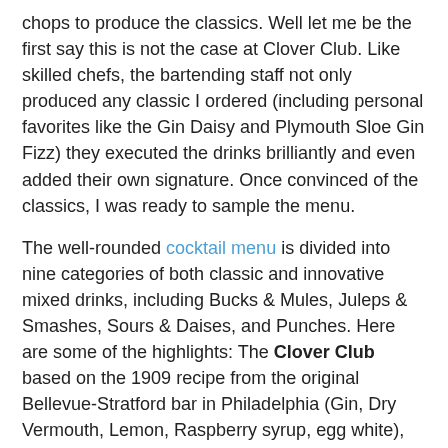chops to produce the classics. Well let me be the first say this is not the case at Clover Club. Like skilled chefs, the bartending staff not only produced any classic I ordered (including personal favorites like the Gin Daisy and Plymouth Sloe Gin Fizz) they executed the drinks brilliantly and even added their own signature. Once convinced of the classics, I was ready to sample the menu.
The well-rounded cocktail menu is divided into nine categories of both classic and innovative mixed drinks, including Bucks & Mules, Juleps & Smashes, Sours & Daises, and Punches. Here are some of the highlights: The Clover Club based on the 1909 recipe from the original Bellevue-Stratford bar in Philadelphia (Gin, Dry Vermouth, Lemon, Raspberry syrup, egg white), the Bramble (a Dick Bradsell invention, Gin, Lemon, Sugar, fresh blackberry puree), the Bohemian Fizz (Gin, Elderflower, Lemon, Soda) and the Jersey Julep (Applejack, Mint, Maple Syrup). Also, some classic American Punches such as the Algonquin Punch (Jamaican Rum, Plymouth Sloe Gin, Fresh Lemon, and Raspberry Syrup) served in vintage punch bowls for 4 - 6 people. (Disclaimer: I tried all of these cocktails over four